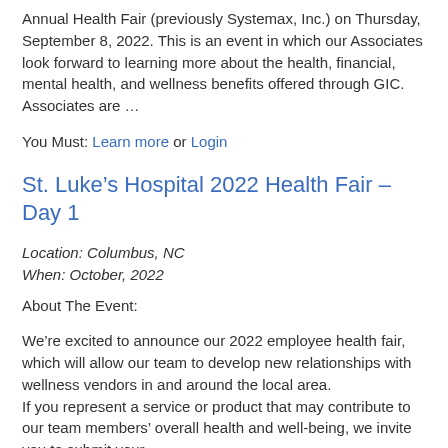Annual Health Fair (previously Systemax, Inc.) on Thursday, September 8, 2022. This is an event in which our Associates look forward to learning more about the health, financial, mental health, and wellness benefits offered through GIC. Associates are …
You Must: Learn more or Login
St. Luke's Hospital 2022 Health Fair – Day 1
Location: Columbus, NC
When: October, 2022
About The Event:
We're excited to announce our 2022 employee health fair, which will allow our team to develop new relationships with wellness vendors in and around the local area. If you represent a service or product that may contribute to our team members' overall health and well-being, we invite you to submit your …
You Must: Learn more or Login
St. Luke's Hospital 2022 Health Fair – Day 2